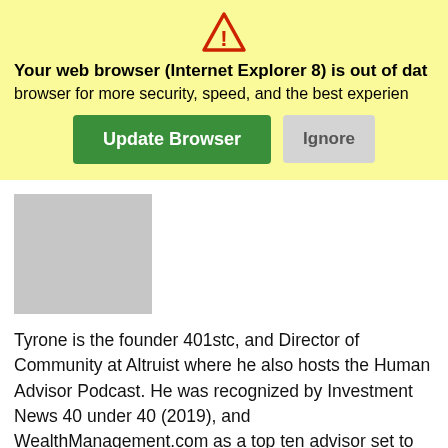[Figure (other): Browser update warning banner with yellow background, warning triangle icon, bold text 'Your web browser (Internet Explorer 8) is out of date', normal text 'browser for more security, speed, and the best experience', a green 'Update Browser' button, and a gray 'Ignore' button.]
[Figure (photo): Gray placeholder rectangle representing a person's profile photo.]
Tyrone is the founder 401stc, and Director of Community at Altruist where he also hosts the Human Advisor Podcast. He was recognized by Investment News 40 under 40 (2019), and WealthManagement.com as a top ten advisor set to change the industry in 2019.